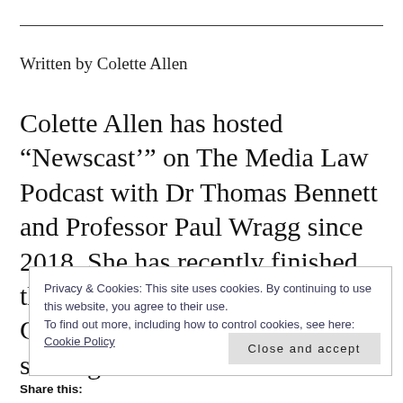Written by Colette Allen
Colette Allen has hosted “Newscast’” on The Media Law Podcast with Dr Thomas Bennett and Professor Paul Wragg since 2018. She has recently finished the BTC at The Inns of Court College of Advocacy and will be starting a MSc
Privacy & Cookies: This site uses cookies. By continuing to use this website, you agree to their use.
To find out more, including how to control cookies, see here: Cookie Policy
Close and accept
Share this: